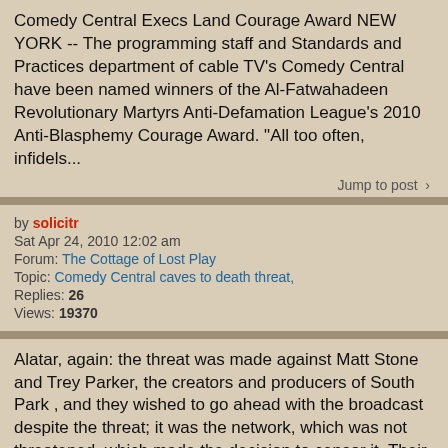Comedy Central Execs Land Courage Award NEW YORK -- The programming staff and Standards and Practices department of cable TV's Comedy Central have been named winners of the Al-Fatwahadeen Revolutionary Martyrs Anti-Defamation League's 2010 Anti-Blasphemy Courage Award. "All too often, infidels...
Jump to post >
by solicitr
Sat Apr 24, 2010 12:02 am
Forum: The Cottage of Lost Play
Topic: Comedy Central caves to death threat,
Replies: 26
Views: 19370
Alatar, again: the threat was made against Matt Stone and Trey Parker, the creators and producers of South Park , and they wished to go ahead with the broadcast despite the threat; it was the network, which was not threatened, which made the decision to censor it. Their heads on the line (literally)...
Jump to post >
by solicitr
Fri Apr 23, 2010 8:29 pm
Forum: The Cottage of Lost Play
Topic: Comedy Central caves to death threat,
Replies: 26
Views: 19370